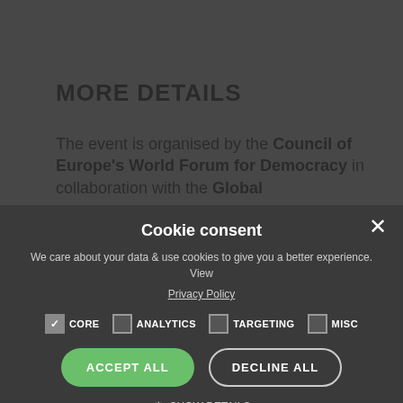MORE DETAILS
The event is organised by the Council of Europe's World Forum for Democracy in collaboration with the Global Governance Forum and Leiden University, Faculty of Governance and Global Affairs. The programme will include presentations from invited experts, Q&A with participants.
MODERATOR
Maja GROFF, International Lawyer and Co-Chair of the Climate...
[Figure (screenshot): Cookie consent modal overlay with dark background. Title: 'Cookie consent'. Description: 'We care about your data & use cookies to give you a better experience. View Privacy Policy'. Checkboxes: CORE (checked), ANALYTICS (unchecked), TARGETING (unchecked), MISC (unchecked). Buttons: ACCEPT ALL (green), DECLINE ALL (white outline). Show Details option with gear icon. Powered by COOKIESCRIPT footer.]